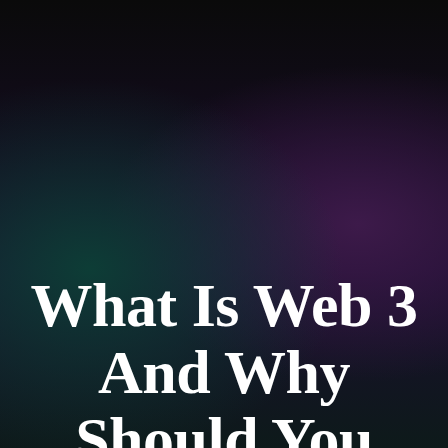[Figure (illustration): Dark gradient background with teal/green glow on left and purple/magenta glow on right, fading to near-black at top]
Newsletters
What Is Web 3 And Why Should You Care? | Furlough Weekly